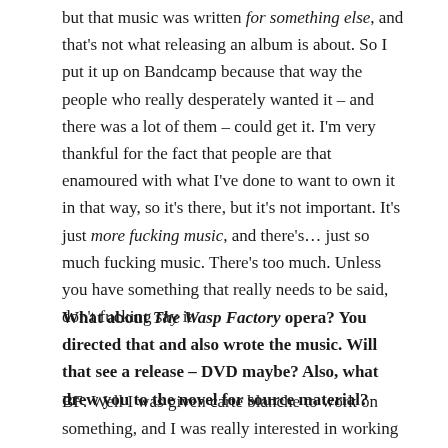but that music was written for something else, and that's not what releasing an album is about. So I put it up on Bandcamp because that way the people who really desperately wanted it – and there was a lot of them – could get it. I'm very thankful for the fact that people are that enamoured with what I've done to want to own it in that way, so it's there, but it's not important. It's just more fucking music, and there's… just so much fucking music. There's too much. Unless you have something that really needs to be said, don't fucking say it.
What about The Wasp Factory opera? You directed that and also wrote the music. Will that see a release – DVD maybe? Also, what drew you to the novel for source material?
BF: Well I was given carte blanche to work on something, and I was really interested in working on something with a text, and making work that was bigger than stereo music. Making something where it could all work together for the music. There have been so